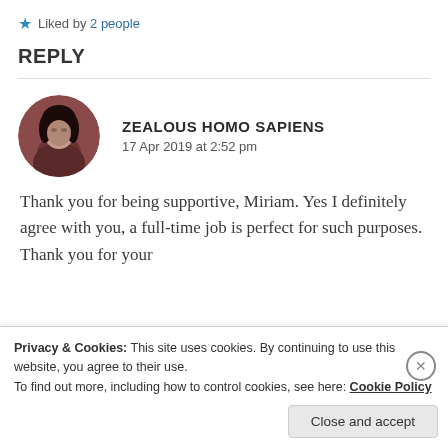★ Liked by 2 people
REPLY
[Figure (illustration): Circular avatar photo of a person with dark hair against a reddish-brown background]
ZEALOUS HOMO SAPIENS
17 Apr 2019 at 2:52 pm
Thank you for being supportive, Miriam. Yes I definitely agree with you, a full-time job is perfect for such purposes. Thank you for your
Privacy & Cookies: This site uses cookies. By continuing to use this website, you agree to their use.
To find out more, including how to control cookies, see here: Cookie Policy
Close and accept